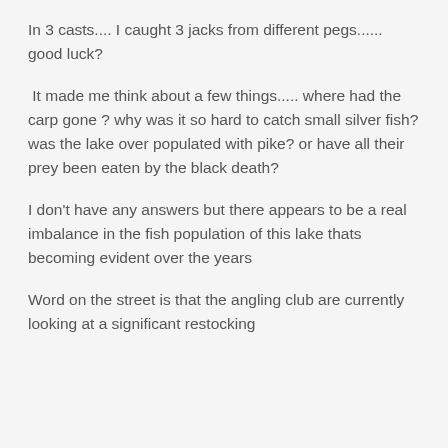In 3 casts.... I caught 3 jacks from different pegs......  good luck?
It made me think about a few things..... where had the carp gone ? why was it so hard to catch small silver fish? was the lake over populated with pike? or have all their prey been eaten by the black death?
I don't have any answers but there appears to be a real imbalance in the fish population of this lake thats becoming evident over the years
Word on the street is that the angling club are currently looking at a significant restocking